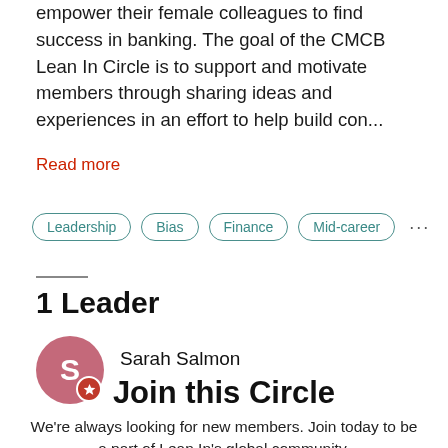empower their female colleagues to find success in banking. The goal of the CMCB Lean In Circle is to support and motivate members through sharing ideas and experiences in an effort to help build con...
Read more
Leadership
Bias
Finance
Mid-career
1 Leader
Sarah Salmon
Join this Circle
We're always looking for new members. Join today to be a part of Lean In's global community.